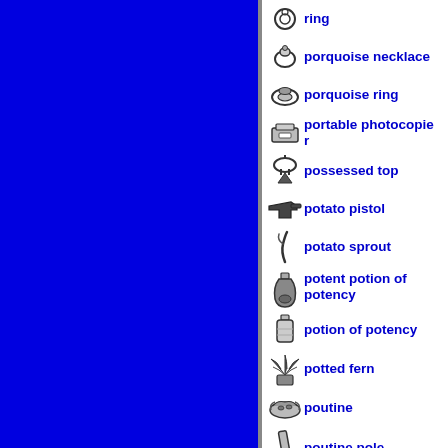[Figure (illustration): Large solid blue rectangle panel on the left side of the page]
ring
porquoise necklace
porquoise ring
portable photocopier
possessed top
potato pistol
potato sprout
potent potion of potency
potion of potency
potted fern
poutine
poutine pole
powdered organs